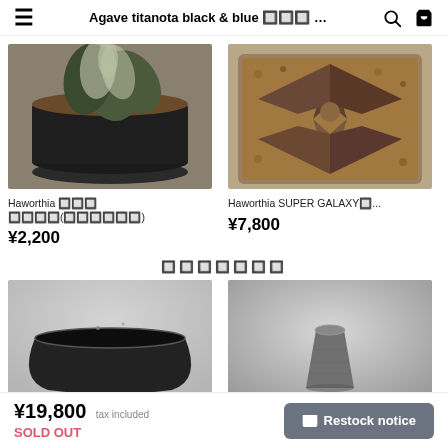Agave titanota black & blue 🔲🔲🔲 ... 🔍 🛒
[Figure (photo): Haworthia plant with white-striped fleshy leaves in a dark round pot with brown gravel soil, top-down view]
[Figure (photo): Haworthia SUPER GALAXY plant with star-shaped triangular dark leaves in a square black pot with brown gravel, overhead view]
Haworthia 🔲🔲🔲 🔲🔲🔲🔲(🔲🔲🔲🔲🔲🔲)
¥2,200
Haworthia SUPER GALAXY🔲...
¥7,800
🔲🔲🔲🔲🔲🔲🔲
[Figure (photo): Black ceramic shallow bowl-shaped pot on misty grey background]
[Figure (photo): Rough textured small conical grey pot on misty grey background]
¥19,800 tax included
SOLD OUT